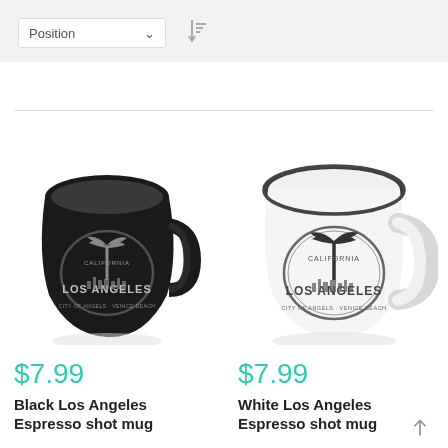[Figure (screenshot): Filter bar with Position dropdown and sort icon]
[Figure (photo): Black Los Angeles Espresso shot mug with white Los Angeles palm tree stamp design]
$7.99
Black Los Angeles Espresso shot mug
[Figure (photo): White Los Angeles Espresso shot mug with dark Los Angeles palm tree stamp design]
$7.99
White Los Angeles Espresso shot mug